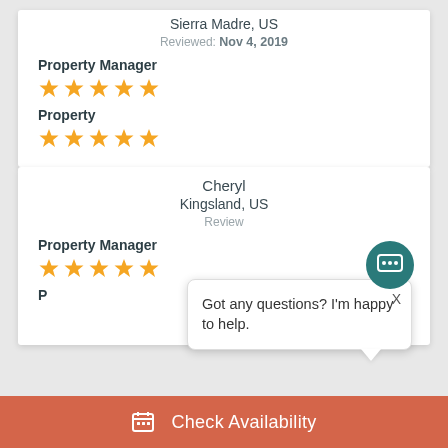Sierra Madre, US
Reviewed: Nov 4, 2019
Property Manager
[Figure (other): 5 orange stars rating for Property Manager]
Property
[Figure (other): 5 orange stars rating for Property]
Cheryl
Kingsland, US
Review
Property Manager
[Figure (other): 5 orange stars rating for Property Manager]
Got any questions? I'm happy to help.
Check Availability